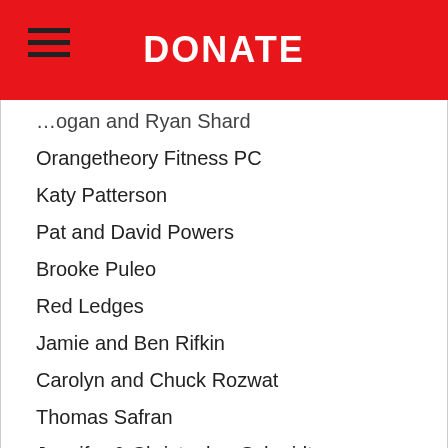DONATE
…ogan and Ryan Shard
Orangetheory Fitness PC
Katy Patterson
Pat and David Powers
Brooke Puleo
Red Ledges
Jamie and Ben Rifkin
Carolyn and Chuck Rozwat
Thomas Safran
Jennifer & Christopher Schmidt
Melany and Brett Shaw
Tamara and Mitchell Solomon
…